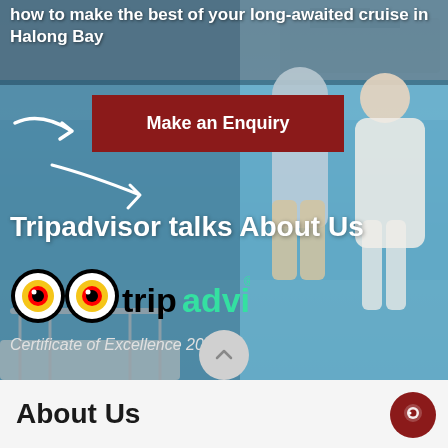how to make the best of your long-awaited cruise in Halong Bay
[Figure (photo): Couple standing on the deck of a cruise ship looking out over Halong Bay water, with a cruise ship visible in the background. The scene is viewed from behind the couple.]
Tripadvisor talks About Us
[Figure (logo): TripAdvisor logo with owl eyes icon and the text 'tripadvisor' in black and green]
Certificate of Excellence 2019
About Us